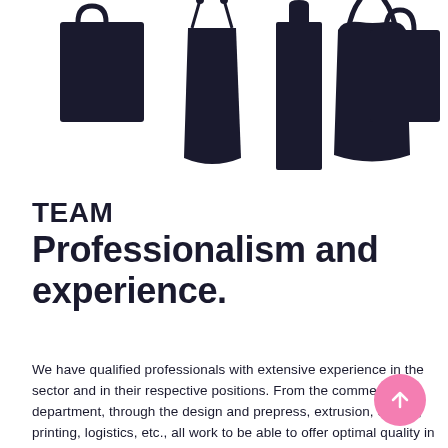[Figure (illustration): Five black silhouette shopping/tote bags of varying shapes displayed in a row against a white background]
TEAM Professionalism and experience.
We have qualified professionals with extensive experience in the sector and in their respective positions. From the commercial department, through the design and prepress, extrusion, cutting, printing, logistics, etc., all work to be able to offer optimal quality in the final product result and thus satisfy the needs of our clients.
At Reach Bags Vendor Management, we attach great importance to teamwork and communication, and fluidity between departments. This, we believe, is essential for the work to reach the quality levels we desire.